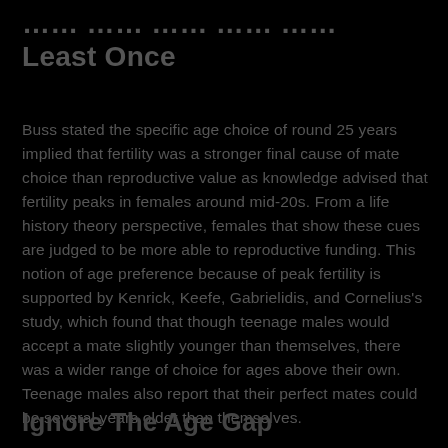Least Once
Buss stated the specific age choice of round 25 years implied that fertility was a stronger final cause of mate choice than reproductive value as knowledge advised that fertility peaks in females around mid-20s. From a life history theory perspective, females that show these cues are judged to be more able to reproductive funding. This notion of age preference because of peak fertility is supported by Kenrick, Keefe, Gabrielidis, and Cornelius's study, which found that though teenage males would accept a mate slightly younger than themselves, there was a wider range of choice for ages above their own. Teenage males also report that their perfect mates could be several years older than themselves.
Ignore The Age Gap